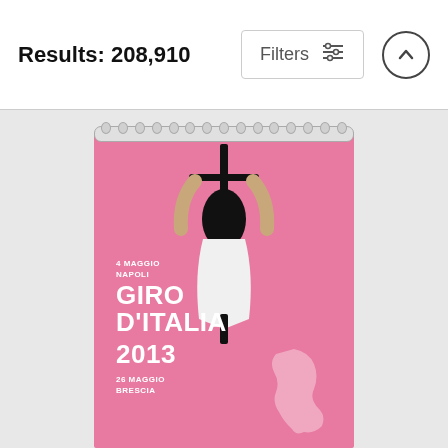Results: 208,910
Filters
[Figure (photo): Shower curtain with pink Giro d'Italia 2013 cycling poster design, showing an overhead view of a cyclist in aero position. Text reads: 4 MAGGIO / NAPOLI / GIRO D'ITALIA / 2013 / 26 MAGGIO / BRESCIA. Italy map silhouette in lighter pink at bottom right.]